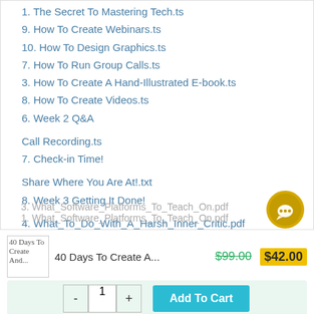1. The Secret To Mastering Tech.ts
9. How To Create Webinars.ts
10. How To Design Graphics.ts
7. How To Run Group Calls.ts
3. How To Create A Hand-Illustrated E-book.ts
8. How To Create Videos.ts
6. Week 2 Q&A
Call Recording.ts
7. Check-in Time!
Share Where You Are At!.txt
8. Week 3 Getting It Done!
4. What_To_Do_With_A_Harsh_Inner_Critic.pdf
2. How_To_Receive_Payments.pdf
3. What_Software_Platforms_To_Teach_On.pdf
1. What_Software_Platforms_To_Teach_On.pdf
40 Days To Create A ... $99.00 $42.00   - 1 + Add To Cart